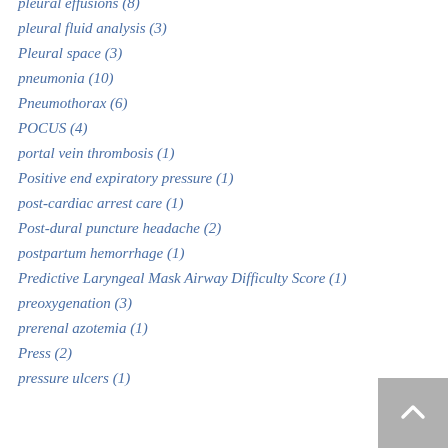pleural effusions (8)
pleural fluid analysis (3)
Pleural space (3)
pneumonia (10)
Pneumothorax (6)
POCUS (4)
portal vein thrombosis (1)
Positive end expiratory pressure (1)
post-cardiac arrest care (1)
Post-dural puncture headache (2)
postpartum hemorrhage (1)
Predictive Laryngeal Mask Airway Difficulty Score (1)
preoxygenation (3)
prerenal azotemia (1)
Press (2)
pressure ulcers (1)